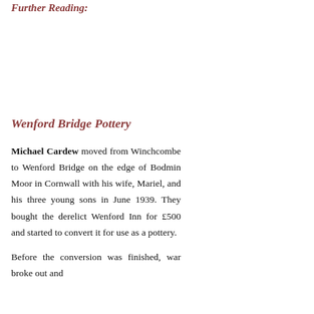Further Reading:
Winchcombe Pottery: th... Tradition by Ron Wheeler an...
Bernard Leach, Hamada an... Cornelia Wingfield Digby an...
Wenford Bridge Pottery
Michael Cardew moved from Winchcombe to Wenford Bridge on the edge of Bodmin Moor in Cornwall with his wife, Mariel, and his three young sons in June 1939. They bought the derelict Wenford Inn for £500 and started to convert it for use as a pottery.
Before the conversion was finished, war broke out and...